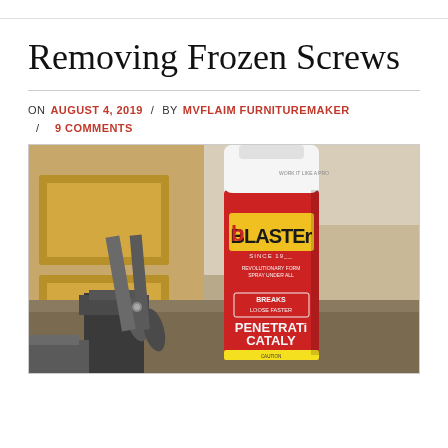Removing Frozen Screws
ON AUGUST 4, 2019 / BY MVFLAIM FURNITUREMAKER / 9 COMMENTS
[Figure (photo): Photo of a can of Blaster Penetrating Catalyst spray lubricant sitting on a workbench next to a pair of metalworking scissors/snips. Woodworking cabinet visible in background.]